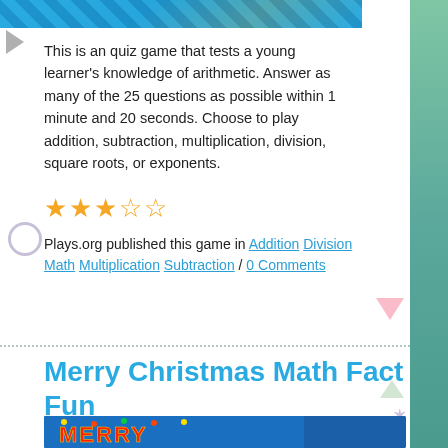[Figure (screenshot): Top banner image of a math quiz game with colorful pencil/school theme on blue background]
This is an quiz game that tests a young learner's knowledge of arithmetic. Answer as many of the 25 questions as possible within 1 minute and 20 seconds. Choose to play addition, subtraction, multiplication, division, square roots, or exponents.
[Figure (other): 3 out of 5 star rating shown with filled and empty orange stars]
Plays.org published this game in Addition Division Math Multiplication Subtraction / 0 Comments
Merry Christmas Math Fact Fun
[Figure (screenshot): Bottom banner image showing Christmas game with MERRY text and Santa Claus on snowy blue background]